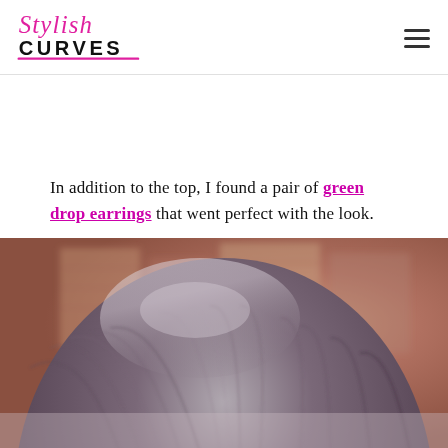Stylish Curves
In addition to the top, I found a pair of green drop earrings that went perfect with the look.
[Figure (photo): Close-up photo of a person with dark hair (bob cut) from behind/above, with a blurred brick building background]